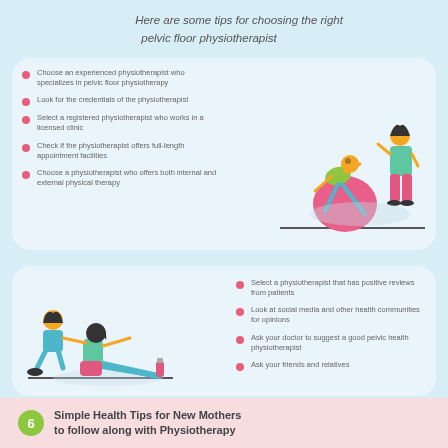Here are some tips for choosing the right pelvic floor physiotherapist
Choose an experienced physiotherapist who specializes in pelvic floor physiotherapy
Look for the credentials of the physiotherapist
Select a registered physiotherapist who works in a licensed clinic
Check if the physiotherapist offers full-length appointment facilities
Choose a physiotherapist who offers both internal and external physical therapy
[Figure (illustration): Illustration of a person exercising on a large pink exercise ball with a standing physiotherapist in green top and pink pants]
[Figure (illustration): Illustration of a physiotherapist helping a seated patient with stretching exercises, with a water bottle nearby]
Select a physiotherapist that has positive reviews from patients
Look at social media and other health communities for opinions
Ask your doctor to suggest a good pelvic health physiotherapist
Ask your friends and relatives
6 Simple Health Tips for New Mothers to follow along with Physiotherapy